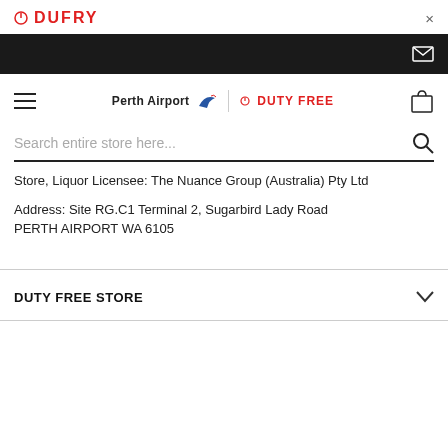DUFRY
Store, Liquor Licensee: The Nuance Group (Australia) Pty Ltd
Address: Site RG.C1 Terminal 2, Sugarbird Lady Road PERTH AIRPORT WA 6105
DUTY FREE STORE